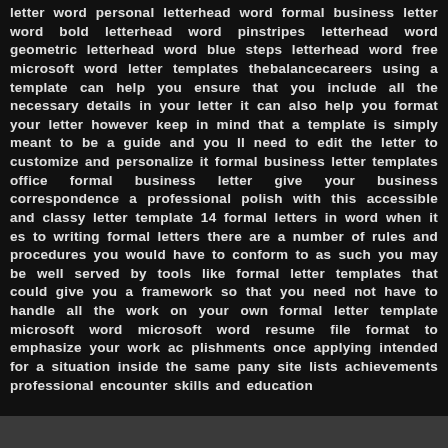letter word personal letterhead word formal business letter word bold letterhead word pinstripes letterhead word geometric letterhead word blue steps letterhead word free microsoft word letter templates thebalancecareers using a template can help you ensure that you include all the necessary details in your letter it can also help you format your letter however keep in mind that a template is simply meant to be a guide and you ll need to edit the letter to customize and personalize it formal business letter templates office formal business letter give your business correspondence a professional polish with this accessible and classy letter template 14 formal letters in word when it es to writing formal letters there are a number of rules and procedures you would have to conform to as such you may be well served by tools like formal letter templates that could give you a framework so that you need not have to handle all the work on your own formal letter template microsoft word microsoft word resume file format to emphasize your work ac plishments once applying intended for a situation inside the same pany site lists achievements professional encounter skills and education